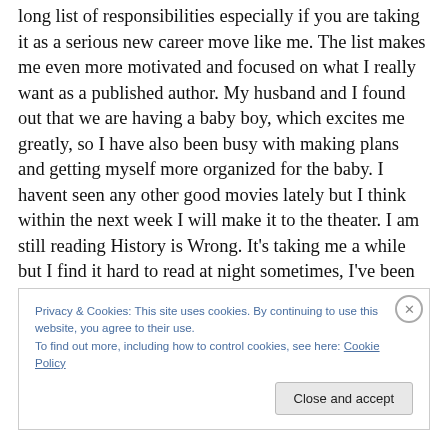long list of responsibilities especially if you are taking it as a serious new career move like me.  The list makes me even more motivated and focused on what I really want as a published author.  My husband and I found out that we are having a baby boy, which excites me greatly, so I have also been busy with making plans and getting myself more organized for the baby.  I havent seen any other good movies lately but I think within the next week I will make it to the theater.  I am still reading History is Wrong.  It's taking me a while but I find it hard to read at night sometimes, I've been so tired that by the time my head
Privacy & Cookies: This site uses cookies. By continuing to use this website, you agree to their use.
To find out more, including how to control cookies, see here: Cookie Policy